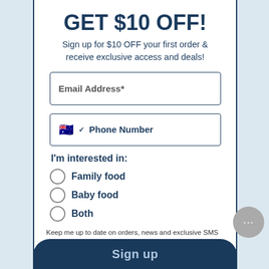GET $10 OFF!
Sign up for $10 OFF your first order & receive exclusive access and deals!
Email Address*
Phone Number
I'm interested in:
Family food
Baby food
Both
Keep me up to date on orders, news and exclusive SMS offers. I agree to these SMS Terms.
Sign up